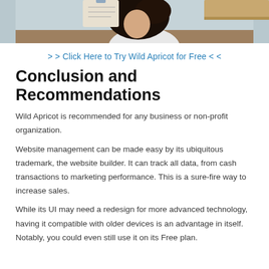[Figure (photo): Cropped photo of a person with dark hair, partially visible, appearing to work at a desk or table]
> > Click Here to Try Wild Apricot for Free < <
Conclusion and Recommendations
Wild Apricot is recommended for any business or non-profit organization.
Website management can be made easy by its ubiquitous trademark, the website builder. It can track all data, from cash transactions to marketing performance. This is a sure-fire way to increase sales.
While its UI may need a redesign for more advanced technology, having it compatible with older devices is an advantage in itself. Notably, you could even still use it on its Free plan.